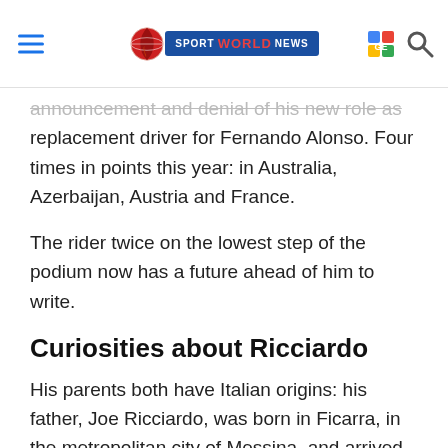Sport World News
announcement and denial of his new role as replacement driver for Fernando Alonso. Four times in points this year: in Australia, Azerbaijan, Austria and France.
The rider twice on the lowest step of the podium now has a future ahead of him to write.
Curiosities about Ricciardo
His parents both have Italian origins: his father, Joe Ricciardo, was born in Ficarra, in the metropolitan city of Messina, and arrived in Australia at the age of seven after the family